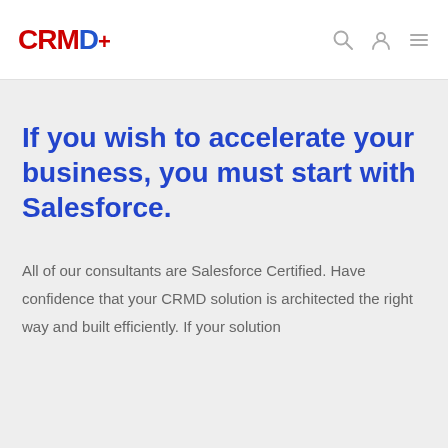CRMD+
If you wish to accelerate your business, you must start with Salesforce.
All of our consultants are Salesforce Certified. Have confidence that your CRMD solution is architected the right way and built efficiently. If your solution